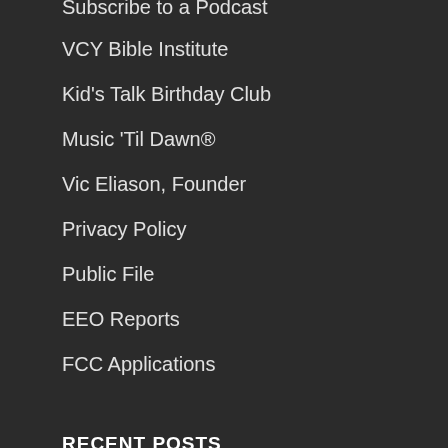Subscribe to a Podcast
VCY Bible Institute
Kid's Talk Birthday Club
Music 'Til Dawn®
Vic Eliason, Founder
Privacy Policy
Public File
EEO Reports
FCC Applications
RECENT POSTS
August 21 – Why Study Job?
What of My Hope?